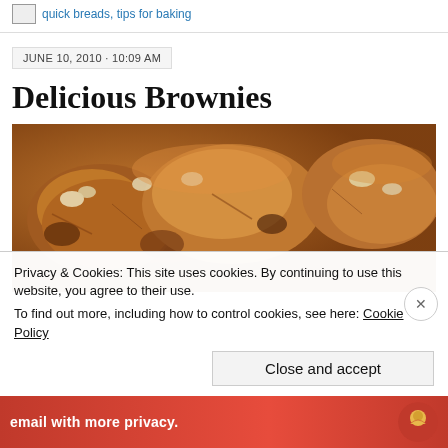quick breads, tips for baking
JUNE 10, 2010 · 10:09 AM
Delicious Brownies
[Figure (photo): Close-up photograph of brownies with visible texture, crumbly edges, and golden-brown coloring with walnut pieces]
Privacy & Cookies: This site uses cookies. By continuing to use this website, you agree to their use.
To find out more, including how to control cookies, see here: Cookie Policy
Close and accept
email with more privacy.